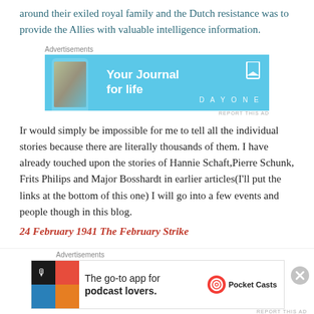around their exiled royal family and the Dutch resistance was to provide the Allies with valuable intelligence information.
[Figure (other): Advertisement banner for Day One app - 'Your Journal for life' on blue background with phone image]
Ir would simply be impossible for me to tell all the individual stories because there are literally thousands of them. I have already touched upon the stories of Hannie Schaft,Pierre Schunk, Frits Philips and Major Bosshardt in earlier articles(I'll put the links at the bottom of this one) I will go into a few events and people though in this blog.
24 February 1941 The February Strike
[Figure (other): Advertisement for Pocket Casts app - 'The go-to app for podcast lovers.']